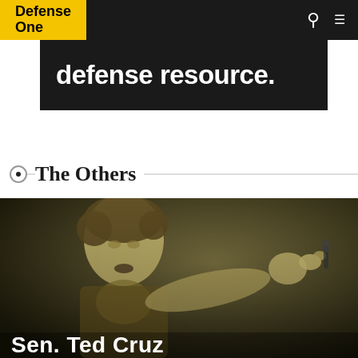Defense One
[Figure (illustration): Dark banner advertisement with bold white text reading 'defense resource.']
The Others
[Figure (photo): Black and white photo of Sen. Ted Cruz pointing and speaking, with a yellowish tint overlay. Name caption 'Sen. Ted Cruz' overlaid at bottom.]
Sen. Ted Cruz